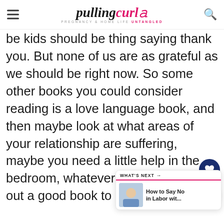pulling curls — PREGNANCY & HOME LIFE UNTANGLED
be kids should be thing saying thank you. But none of us are as grateful as we should be right now. So some other books you could consider reading is a love language book, and then maybe look at what areas of your relationship are suffering, maybe you need a little help in the bedroom, whatever, you know, figure out a good book to read together.